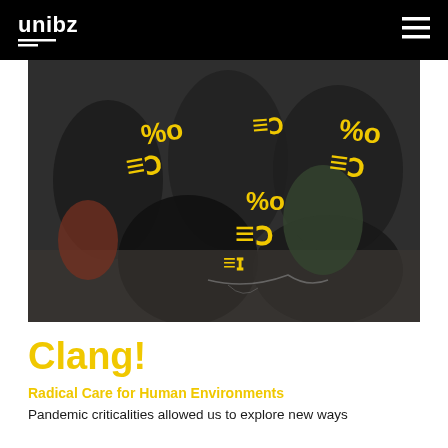unibz
[Figure (photo): Group of people outdoors working together on ground level, with yellow stylized graphic symbols overlaid on the image.]
Clang!
Radical Care for Human Environments
Pandemic criticalities allowed us to explore new ways